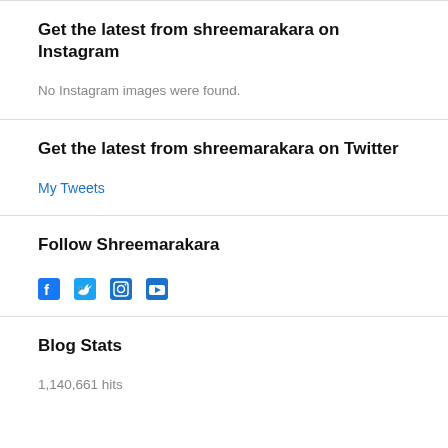Get the latest from shreemarakara on Instagram
No Instagram images were found.
Get the latest from shreemarakara on Twitter
My Tweets
Follow Shreemarakara
[Figure (illustration): Four social media icons: Facebook, Twitter, Instagram, YouTube in blue]
Blog Stats
1,140,661 hits